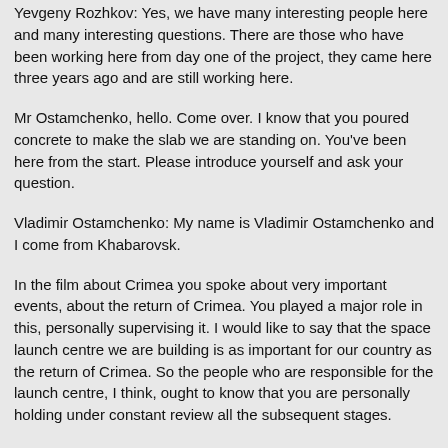Yevgeny Rozhkov: Yes, we have many interesting people here and many interesting questions. There are those who have been working here from day one of the project, they came here three years ago and are still working here.
Mr Ostamchenko, hello. Come over. I know that you poured concrete to make the slab we are standing on. You've been here from the start. Please introduce yourself and ask your question.
Vladimir Ostamchenko: My name is Vladimir Ostamchenko and I come from Khabarovsk.
In the film about Crimea you spoke about very important events, about the return of Crimea. You played a major role in this, personally supervising it. I would like to say that the space launch centre we are building is as important for our country as the return of Crimea. So the people who are responsible for the launch centre, I think, ought to know that you are personally holding under constant review all the subsequent stages.